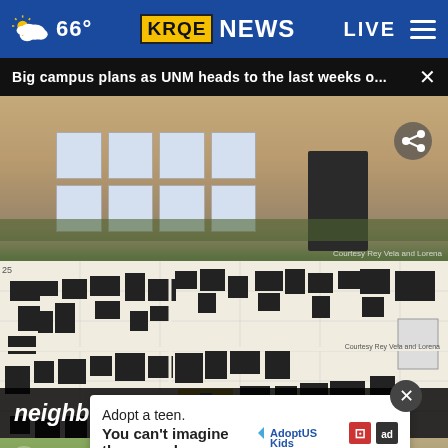66° KRQE NEWS LIVE
Big campus plans as UNM heads to the last weeks o...
[Figure (photo): Exterior of a UNM campus building, tan stucco with windows]
[Figure (map): UNM campus map showing building footprints, highlighted area in yellow/blue]
neighbors, murdered at work, m...
[Figure (photo): Two thumbnail images at bottom, left with play button and STO text]
Adopt a teen. You can't imagine the reward.